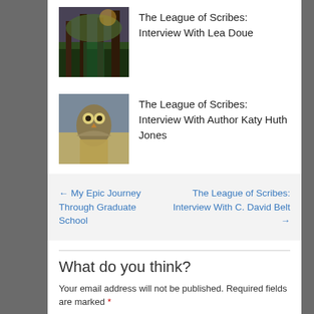[Figure (photo): Thumbnail image of a forest/nature scene for 'The League of Scribes: Interview With Lea Doue']
The League of Scribes: Interview With Lea Doue
[Figure (photo): Thumbnail image of fantasy/animals scene for 'The League of Scribes: Interview With Author Katy Huth Jones']
The League of Scribes: Interview With Author Katy Huth Jones
← My Epic Journey Through Graduate School
The League of Scribes: Interview With C. David Belt →
What do you think?
Your email address will not be published. Required fields are marked *
Comment *